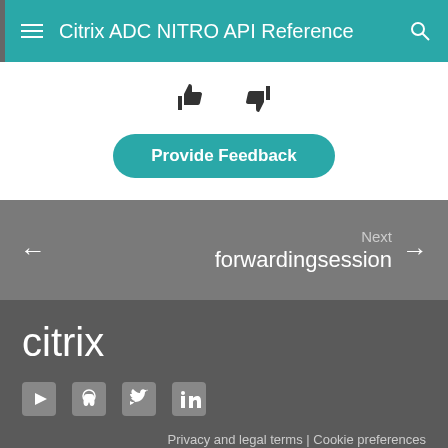Citrix ADC NITRO API Reference
[Figure (screenshot): Thumbs up and thumbs down feedback icons]
Provide Feedback
← Next forwardingsession →
[Figure (logo): Citrix logo in white on dark grey background]
[Figure (other): Social media icons: YouTube, GitHub, Twitter, LinkedIn]
Privacy and legal terms | Cookie preferences
© 1999-2020 Citrix Systems, Inc. All rights reserved.